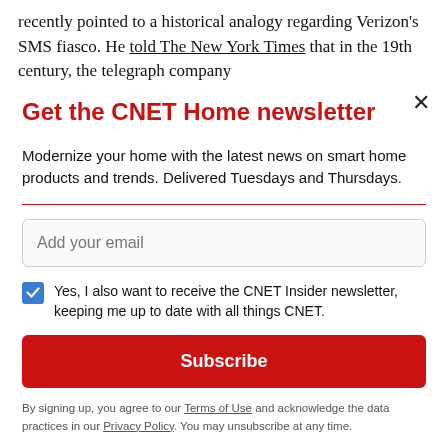recently pointed to a historical analogy regarding Verizon's SMS fiasco. He told The New York Times that in the 19th century, the telegraph company
Get the CNET Home newsletter
Modernize your home with the latest news on smart home products and trends. Delivered Tuesdays and Thursdays.
Add your email
Yes, I also want to receive the CNET Insider newsletter, keeping me up to date with all things CNET.
Subscribe
By signing up, you agree to our Terms of Use and acknowledge the data practices in our Privacy Policy. You may unsubscribe at any time.